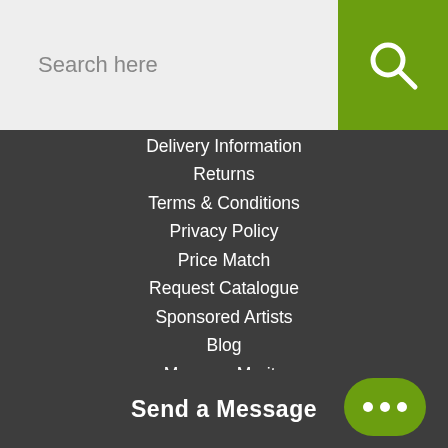Search here
Delivery Information
Returns
Terms & Conditions
Privacy Policy
Price Match
Request Catalogue
Sponsored Artists
Blog
Magnum Merits
Competition T & C
Environmentally Friendly Packaging
Covid-19 Update
Send a Message